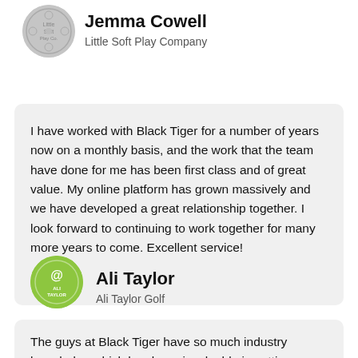[Figure (logo): Gray circular logo for Little Soft Play Company (Jemma Cowell)]
Jemma Cowell
Little Soft Play Company
I have worked with Black Tiger for a number of years now on a monthly basis, and the work that the team have done for me has been first class and of great value. My online platform has grown massively and we have developed a great relationship together. I look forward to continuing to work together for many more years to come. Excellent service!
[Figure (logo): Green circular logo for Ali Taylor Golf]
Ali Taylor
Ali Taylor Golf
The guys at Black Tiger have so much industry knowledge which has been invaluable in setting up our online